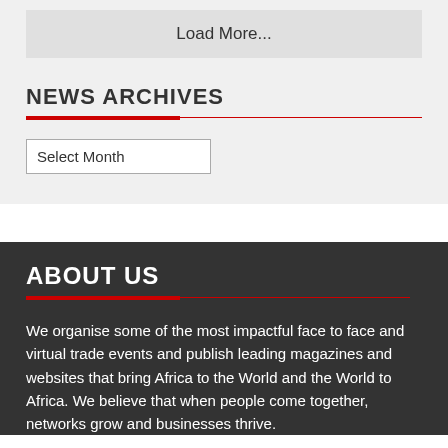Load More...
NEWS ARCHIVES
Select Month
ABOUT US
We organise some of the most impactful face to face and virtual trade events and publish leading magazines and websites that bring Africa to the World and the World to Africa. We believe that when people come together, networks grow and businesses thrive.